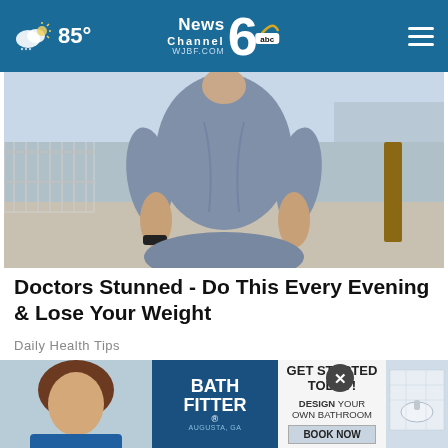85° | News Channel 6 abc WJBF.COM
[Figure (photo): Woman in blue/grey medical scrubs standing outdoors near a fence and tree, headless/cropped at neck level]
Doctors Stunned - Do This Every Evening & Lose Your Weight
Daily Health Tips
[Figure (photo): Advertisement: Bath Fitter - GET STARTED TODAY! DESIGN YOUR OWN BATHROOM. BOOK NOW. Shows woman and bathroom image.]